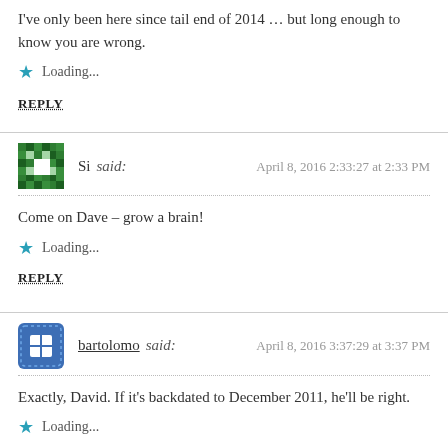I've only been here since tail end of 2014 … but long enough to know you are wrong.
Loading...
REPLY
Si said:   April 8, 2016 2:33:27 at 2:33 PM
Come on Dave – grow a brain!
Loading...
REPLY
bartolomo said:   April 8, 2016 3:37:29 at 3:37 PM
Exactly, David. If it's backdated to December 2011, he'll be right.
Loading...